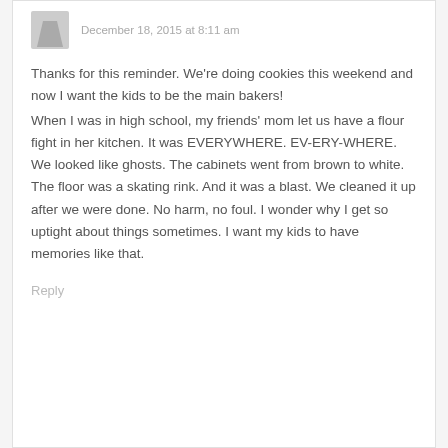December 18, 2015 at 8:11 am
Thanks for this reminder. We're doing cookies this weekend and now I want the kids to be the main bakers!
When I was in high school, my friends' mom let us have a flour fight in her kitchen. It was EVERYWHERE. EV-ERY-WHERE. We looked like ghosts. The cabinets went from brown to white. The floor was a skating rink. And it was a blast. We cleaned it up after we were done. No harm, no foul. I wonder why I get so uptight about things sometimes. I want my kids to have memories like that.
Reply